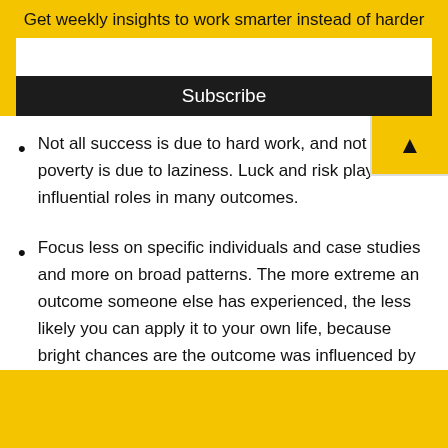Get weekly insights to work smarter instead of harder
Not all success is due to hard work, and not all poverty is due to laziness. Luck and risk play influential roles in many outcomes.
Focus less on specific individuals and case studies and more on broad patterns. The more extreme an outcome someone else has experienced, the less likely you can apply it to your own life, because bright chances are the outcome was influenced by extreme luck or risk.